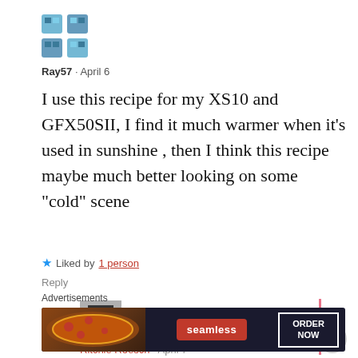[Figure (illustration): Pixel-art style avatar logo with blue/teal squares arranged in a 2x2 grid pattern]
Ray57 · April 6
I use this recipe for my XS10 and GFX50SII, I find it much warmer when it's used in sunshine , then I think this recipe maybe much better looking on some “cold” scene
★ Liked by 1 person
Reply
[Figure (photo): Small avatar image for Ritchie Roesch showing an upward arrow icon]
Ritchie Roesch · April 7
Advertisements
[Figure (screenshot): Seamless food delivery advertisement banner with pizza image, seamless logo, and ORDER NOW button]